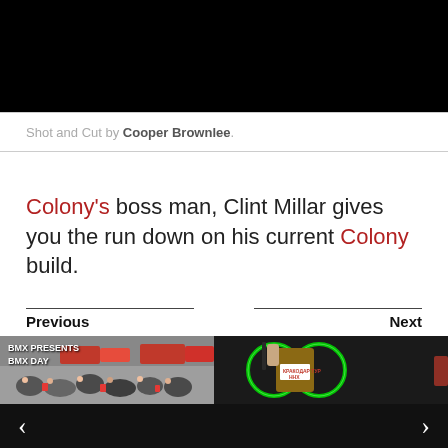[Figure (photo): Black video player area at the top of the page]
Shot and Cut by Cooper Brownlee.
Colony's boss man, Clint Millar gives you the run down on his current Colony build.
Previous
Next
[Figure (photo): BMX Presents BMX Day - crowd of cyclists in a parking lot]
[Figure (photo): Close-up of bicycle with green glowing wheels and a sign reading КРАКОДАР ТУР ННХ]